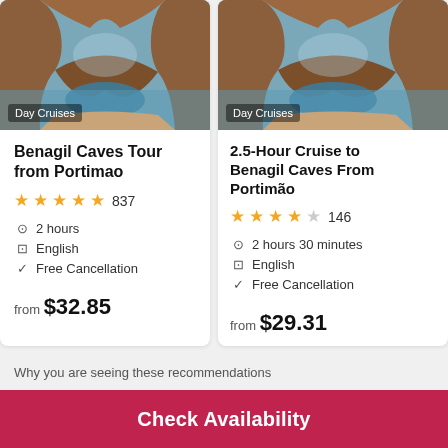[Figure (photo): Cave sea arch with ocean water, warm orange rock tones — Benagil cave image for card 1]
Day Cruises
Benagil Caves Tour from Portimao
★★★★★ 837
2 hours
English
Free Cancellation
from $32.85
[Figure (photo): Cave sea arch with ocean water, warm orange rock tones — Benagil cave image for card 2]
Day Cruises
2.5-Hour Cruise to Benagil Caves From Portimão
★★★★☆ 146
2 hours 30 minutes
English
Free Cancellation
from $29.31
Why you are seeing these recommendations
Check Availability